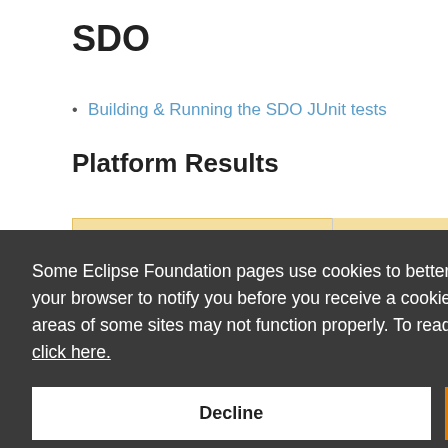SDO
Building & Running the SDO JUnit tests
Platform Results
| orsFailWar |
| --- |
| 0 | 0 |
Some Eclipse Foundation pages use cookies to better serve you when you return to the site. You can set your browser to notify you before you receive a cookie or turn off cookies. If you do so, however, some areas of some sites may not function properly. To read Eclipse Foundation Privacy Policy click here.
Decline
Allow cookies
Contact Us